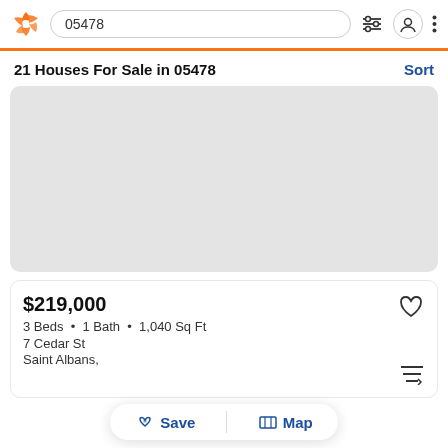05478
21 Houses For Sale in 05478
[Figure (map): Map placeholder showing gray area representing map view of 05478 zip code]
$219,000
3 Beds • 1 Bath • 1,040 Sq Ft
7 Cedar St
Saint Albans,